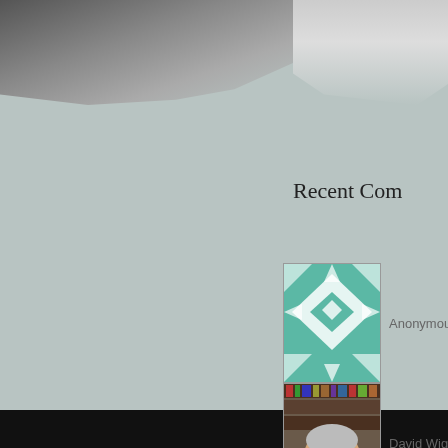[Figure (photo): Top-left decorative/header image with dark grey tones, appears to be a landscape or graphic element]
[Figure (photo): Top-right decorative/header image with light grey tones]
Recent Com
[Figure (photo): Anonymous commenter avatar - teal/green quilt pattern]
Anonymous
[Figure (photo): David Wigg commenter avatar - photo of older man with glasses in front of bookshelves]
David Wigg
[Figure (photo): jerrylbryan commenter avatar - photo of middle-aged man with glasses]
jerrylbryan c
[Figure (photo): Anonymous commenter avatar - teal/green quilt pattern]
Anonymous
[Figure (photo): David Wigg commenter avatar - photo of older man with glasses in front of bookshelves]
David Wigg
[Figure (photo): Bottom black bar footer area]